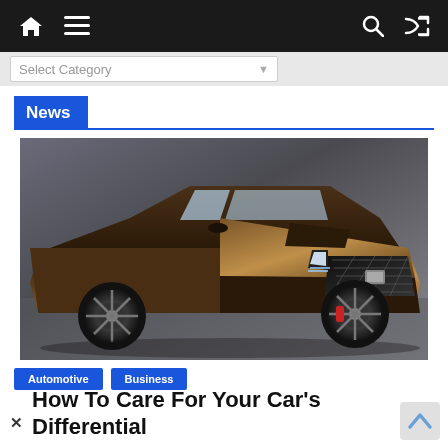Navigation bar with home, menu, search, and shuffle icons
Select Category
News
[Figure (photo): A dark bronze/brown Cadillac CTS-V sports sedan photographed from a front three-quarter angle, showing aggressive styling with large black mesh grille, carbon fiber accents, and black multi-spoke wheels.]
Automotive
Business
How To Care For Your Car's Differential